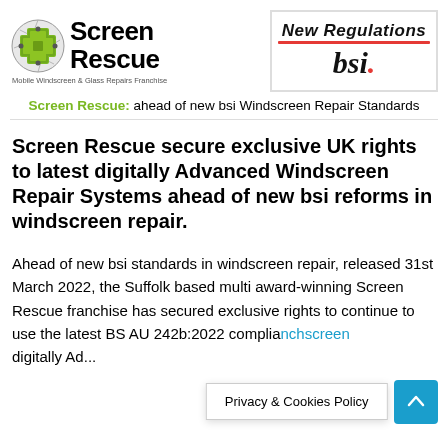[Figure (logo): Screen Rescue logo with green cross icon and brand name, and BSI New Regulations logo side by side]
Screen Rescue: ahead of new bsi Windscreen Repair Standards
Screen Rescue secure exclusive UK rights to latest digitally Advanced Windscreen Repair Systems ahead of new bsi reforms in windscreen repair.
Ahead of new bsi standards in windscreen repair, released 31st March 2022, the Suffolk based multi award-winning Screen Rescue franchise has secured exclusive rights to continue to use the latest BS AU 242b:2022 complia... chscreen digitally Ad...